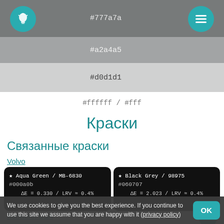#777a7a
#a2a4a5
#d0d1d1
#ffffff / #fff
Краски
Связанные краски
Volvo
| Color Name | Hex | Delta E | LRV |
| --- | --- | --- | --- |
| ★ Aqua Green / MB-6830 | #000a0b | ΔE = 0.330 / LRV ≈ 0.4% |  |
| ★ Black Grey / 98975 | #060707 | ΔE = 2.023 / LRV ≈ 0.4% |  |
Kenworth USA
We use cookies to give you the best experience. If you continue to use this site we assume that you are happy with it (privacy policy)